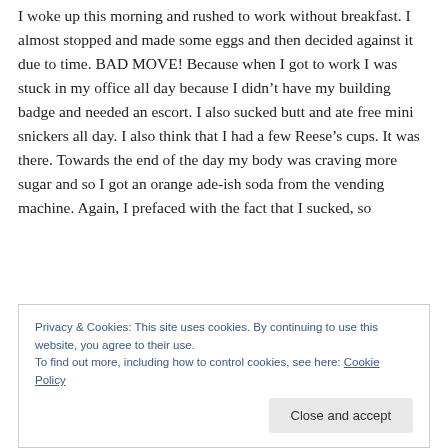I woke up this morning and rushed to work without breakfast. I almost stopped and made some eggs and then decided against it due to time. BAD MOVE! Because when I got to work I was stuck in my office all day because I didn't have my building badge and needed an escort. I also sucked butt and ate free mini snickers all day. I also think that I had a few Reese's cups. It was there. Towards the end of the day my body was craving more sugar and so I got an orange ade-ish soda from the vending machine. Again, I prefaced with the fact that I sucked, so
Privacy & Cookies: This site uses cookies. By continuing to use this website, you agree to their use.
To find out more, including how to control cookies, see here: Cookie Policy
Close and accept